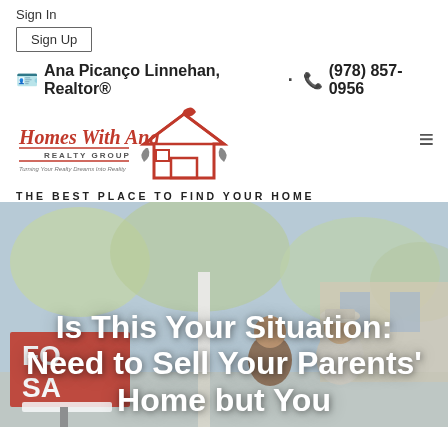Sign In
Sign Up
Ana Picanço Linnehan, Realtor® · (978) 857-0956
[Figure (logo): Homes With Ana Realty Group logo with red house icon and script text]
THE BEST PLACE TO FIND YOUR HOME
[Figure (photo): Elderly couple viewed from behind standing in front of a house with a For Sale sign; blurred background with trees]
Is This Your Situation: Need to Sell Your Parents' Home but You